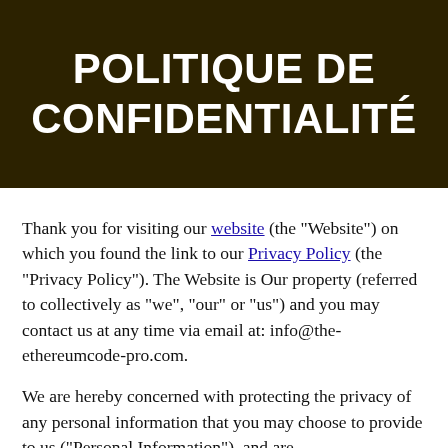POLITIQUE DE CONFIDENTIALITÉ
Thank you for visiting our website (the “Website”) on which you found the link to our Privacy Policy (the “Privacy Policy”). The Website is Our property (referred to collectively as “we”, “our” or “us”) and you may contact us at any time via email at: info@the-ethereumcode-pro.com.
We are hereby concerned with protecting the privacy of any personal information that you may choose to provide to us (“Personal Information”), and are